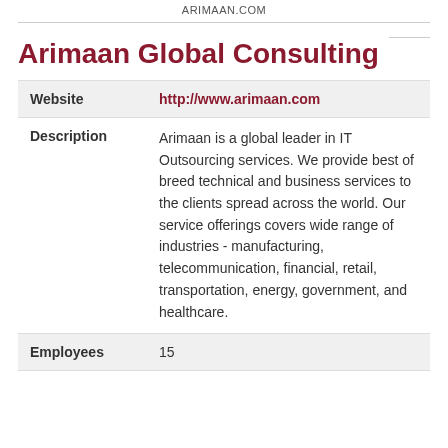ARIMAAN.COM
Arimaan Global Consulting
| Website | http://www.arimaan.com |
| Description | Arimaan is a global leader in IT Outsourcing services. We provide best of breed technical and business services to the clients spread across the world. Our service offerings covers wide range of industries - manufacturing, telecommunication, financial, retail, transportation, energy, government, and healthcare. |
| Employees | 15 |